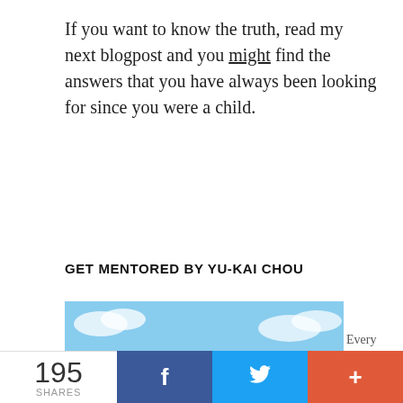If you want to know the truth, read my next blogpost and you might find the answers that you have always been looking for since you were a child.
GET MENTORED BY YU-KAI CHOU
[Figure (illustration): A colorful fantasy/game-style map illustration showing an island with various labeled zones including Gamification, Business, Technology, and other areas. Central feature is a glowing blue orb. Surroundings include mountains, forests, water, and small buildings.]
Every week I hop on a conference call to teach
195 SHARES  f  (Twitter bird)  +